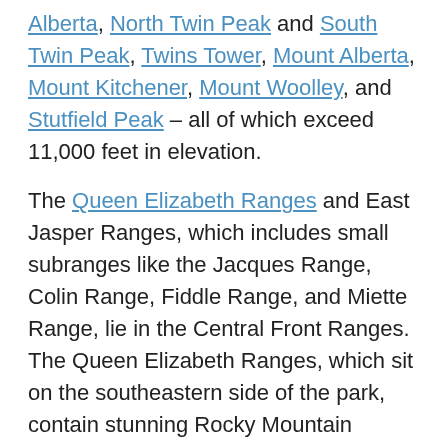Alberta, North Twin Peak and South Twin Peak, Twins Tower, Mount Alberta, Mount Kitchener, Mount Woolley, and Stutfield Peak – all of which exceed 11,000 feet in elevation.
The Queen Elizabeth Ranges and East Jasper Ranges, which includes small subranges like the Jacques Range, Colin Range, Fiddle Range, and Miette Range, lie in the Central Front Ranges. The Queen Elizabeth Ranges, which sit on the southeastern side of the park, contain stunning Rocky Mountain summits like Mount Unwin, Mount Charlton, Mount Mary Vaux, Maligne Mountain, Coronet Mountain, and Samson Peak. The East Jasper Ranges contain several 8,000+ foot summits like Sirdar Mountain, Mount Colin, Mount Dromore in the Colin Range, and Emir Mountain, Mount Merlin in the Jacques Range.
Jasper is home to nearly 53 species of mammals, including